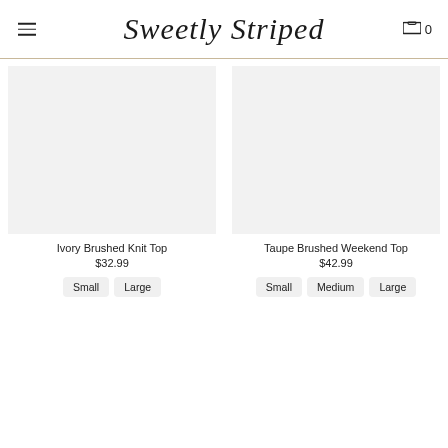Sweetly Striped
[Figure (photo): White/ivory knit top product photo]
Ivory Brushed Knit Top
$32.99
Small
Large
[Figure (photo): Taupe brushed weekend top product photo]
Taupe Brushed Weekend Top
$42.99
Small
Medium
Large